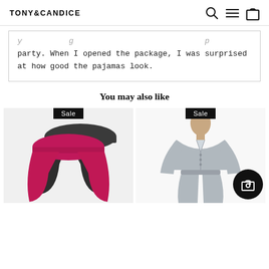TONY&CANDICE
party. When I opened the package, I was surprised at how good the pajamas look.
You may also like
[Figure (photo): Two silk pajama shorts/bottoms in black and pink/magenta color, shown overlapping]
[Figure (photo): A man wearing silver/grey silk long pajama set, button-up top and pants]